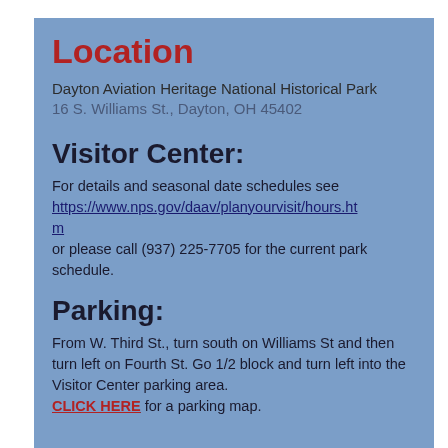Location
Dayton Aviation Heritage National Historical Park
16 S. Williams St., Dayton, OH 45402
Visitor Center:
For details and seasonal date schedules see https://www.nps.gov/daav/planyourvisit/hours.htm or please call (937) 225-7705 for the current park schedule.
Parking:
From W. Third St., turn south on Williams St and then turn left on Fourth St. Go 1/2 block and turn left into the Visitor Center parking area. CLICK HERE for a parking map.
See the Visitor Center page for details on hours and for a map.
Travel Note: Third St. Bridge is now open.